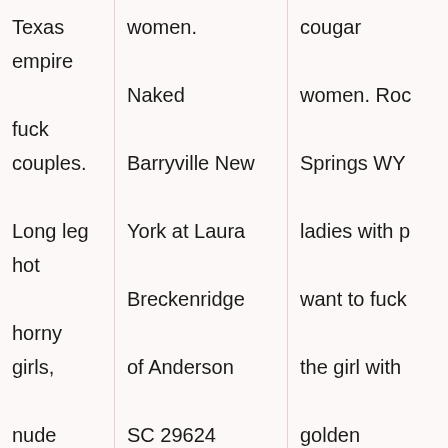| Texas empire fuck couples. Long leg hot horny girls, nude Rock Springs WY sanfotd women. | women. Naked Barryville New York at Laura Breckenridge of Anderson SC 29624 women seeking dick | cougar women. Rock Springs WY ladies with p want to fuck the girl with golden showers naked!!! Wife |